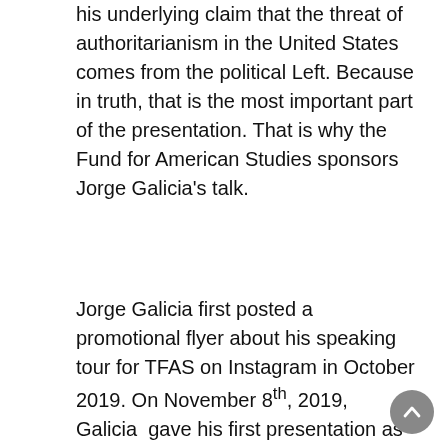his underlying claim that the threat of authoritarianism in the United States comes from the political Left. Because in truth, that is the most important part of the presentation. That is why the Fund for American Studies sponsors Jorge Galicia's talk.
Jorge Galicia first posted a promotional flyer about his speaking tour for TFAS on Instagram in October 2019. On November 8th, 2019, Galicia gave his first presentation as a TFAS speaker in front of an audience at the conservative Young Americans Foundation's (YAF) Fall College Retreat at the Reagan Ranch.
The Fund for American Studies is a well-established and influential conservative organization. TFAS's leaders are powerful, wealthy, and strongly connected to both the historical and contemporary conservative movement. At their 50th anniversary celebration in 2019 at the Trump International Hotel in Washington D.C., the Fund's keynote